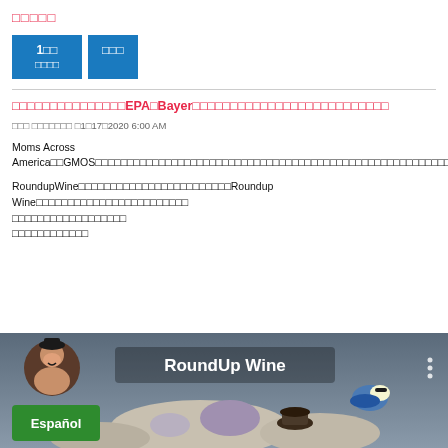□□□□□
1□□  □□□
□□□□□□□□□□□□□□□EPA□Bayer□□□□□□□□□□□□□□□□□□□□□□□□□□
□□□ □□□□□□□ □1□17□2020 6:00 AM
Moms Across America□□GMOS□□□□□□□□□□□□□□□□□□□□□□□□□□□□□□□□□□□□□□□□□□□□□□□□□□□□□□□□□□□□□□□□□□□□□
RoundupWine□□□□□□□□□□□□□□□□□□□□□□□□Roundup Wine□□□□□□□□□□□□□□□□□□□□□□□□□□□□□□□□□□□□□□
[Figure (screenshot): Screenshot of a social media post or video thumbnail featuring RoundUp Wine text, a person, a bird, and a green Español button overlay]